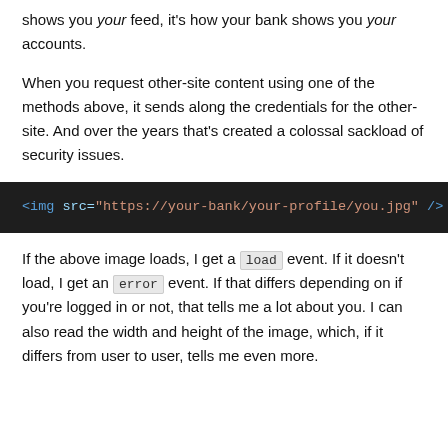shows you your feed, it's how your bank shows you your accounts.
When you request other-site content using one of the methods above, it sends along the credentials for the other-site. And over the years that's created a colossal sackload of security issues.
[Figure (screenshot): Dark code block showing HTML: <img src="https://your-bank/your-profile/you.jpg" />]
If the above image loads, I get a load event. If it doesn't load, I get an error event. If that differs depending on if you're logged in or not, that tells me a lot about you. I can also read the width and height of the image, which, if it differs from user to user, tells me even more.